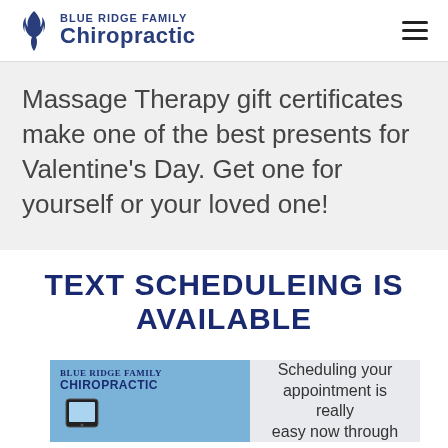Blue Ridge Family Chiropractic
Massage Therapy gift certificates make one of the best presents for Valentine's Day. Get one for yourself or your loved one!
TEXT SCHEDULEING IS AVAILABLE
[Figure (screenshot): Promo image for Blue Ridge Family Chiropractic text scheduling. Left half shows blue panel with logo and phone icon, right half shows gray panel with text: Scheduling your appointment is really easy now through]